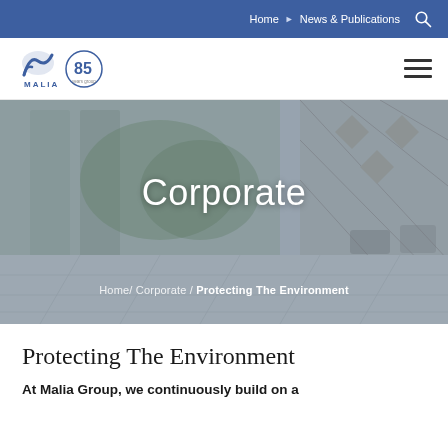Home · News & Publications
[Figure (logo): Malia Group 85 years logo]
[Figure (photo): Corporate interior lobby photo with glass walls and tiled floor. Overlaid text: 'Corporate' and breadcrumb 'Home / Corporate / Protecting The Environment']
Protecting The Environment
At Malia Group, we continuously build on a